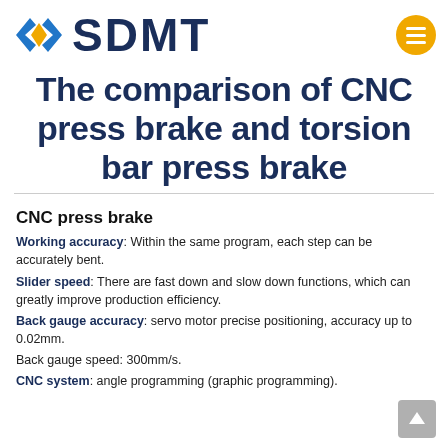SDMT
The comparison of CNC press brake and torsion bar press brake
CNC press brake
Working accuracy: Within the same program, each step can be accurately bent.
Slider speed: There are fast down and slow down functions, which can greatly improve production efficiency.
Back gauge accuracy: servo motor precise positioning, accuracy up to 0.02mm.
Back gauge speed: 300mm/s.
CNC system: angle programming (graphic programming).